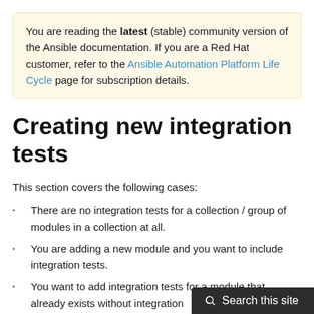You are reading the latest (stable) community version of the Ansible documentation. If you are a Red Hat customer, refer to the Ansible Automation Platform Life Cycle page for subscription details.
Creating new integration tests
This section covers the following cases:
There are no integration tests for a collection / group of modules in a collection at all.
You are adding a new module and you want to include integration tests.
You want to add integration tests for a module that already exists without integration tests.